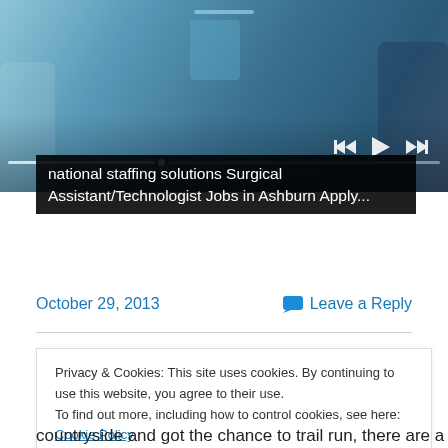[Figure (photo): Medical professional in blue scrubs holding a clipboard/folder with stethoscope, other figures in background. Media player controls (skip back, play, skip forward) and progress bar overlay.]
national staffing solutions Surgical Assistant/Technologist Jobs in Ashburn Apply...
October 29, 2013
Leave a Reply
Fancy a quick break? Lo
Privacy & Cookies: This site uses cookies. By continuing to use this website, you agree to their use.
To find out more, including how to control cookies, see here: Cookie Policy
Close and accept
countryside and got the chance to trail run, there are a